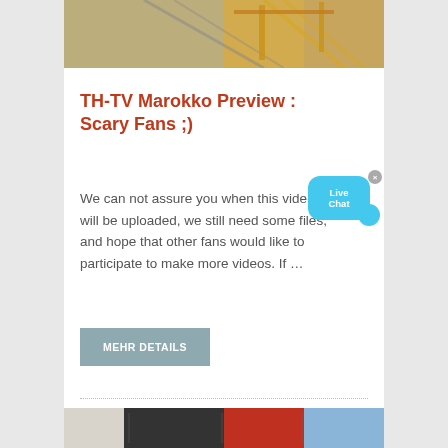[Figure (photo): Industrial construction machinery, yellow crane/conveyor structure with gravel, cropped top portion]
TH-TV Marokko Preview : Scary Fans ;)
We can not assure you when this video will be uploaded, we still need some files, and hope that other fans would like to participate to make more videos. If …
MEHR DETAILS
[Figure (photo): Partial bottom image strip showing industrial/colorful scene]